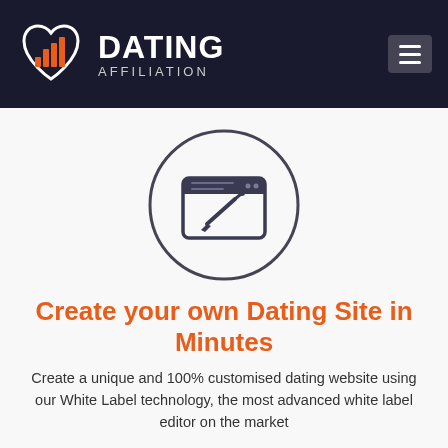DATING AFFILIATION
[Figure (illustration): Circle icon containing a browser/design window with a paintbrush inside, representing website customization]
Create your own Dating Site in Minutes
Create a unique and 100% customised dating website using our White Label technology, the most advanced white label editor on the market